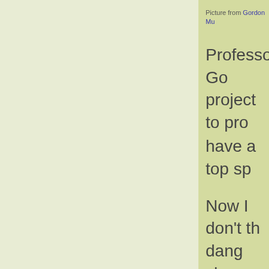Picture from Gordon Mu…
Professor Go… project to pro… have a top sp…
Now I don't th… dang close.
Not only is the… glass fiber, an… its miles per g… at a whopping…
All in all, it loo… but if you've c…